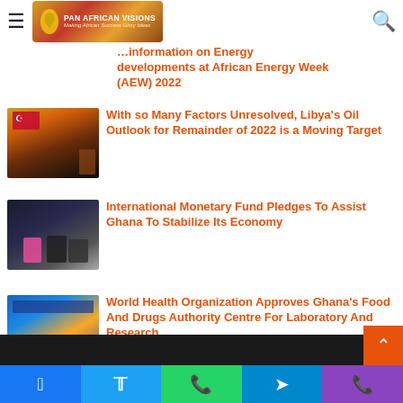Pan African Visions — Making African Success Glory Ideas
Information on Energy developments at African Energy Week (AEW) 2022
With so Many Factors Unresolved, Libya's Oil Outlook for Remainder of 2022 is a Moving Target
International Monetary Fund Pledges To Assist Ghana To Stabilize Its Economy
World Health Organization Approves Ghana's Food And Drugs Authority Centre For Laboratory And Research